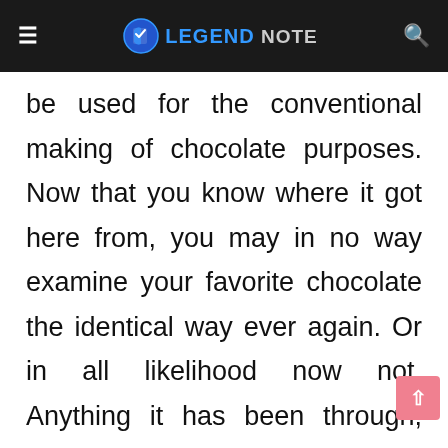≡  LEGEND NOTE  🔍
be used for the conventional making of chocolate purposes. Now that you know where it got here from, you may in no way examine your favorite chocolate the identical way ever again. Or in all likelihood now not. Anything it has been through, sweets will continue to be a favorite among youngsters and toddlers with coronary heart.